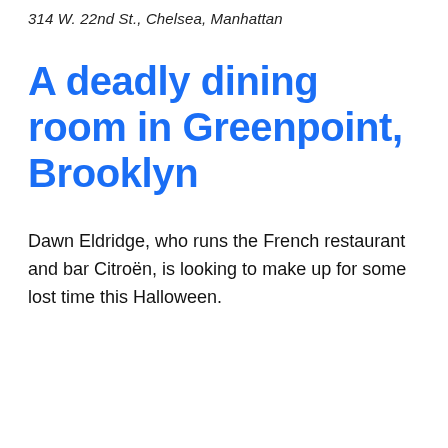314 W. 22nd St., Chelsea, Manhattan
A deadly dining room in Greenpoint, Brooklyn
Dawn Eldridge, who runs the French restaurant and bar Citroën, is looking to make up for some lost time this Halloween.